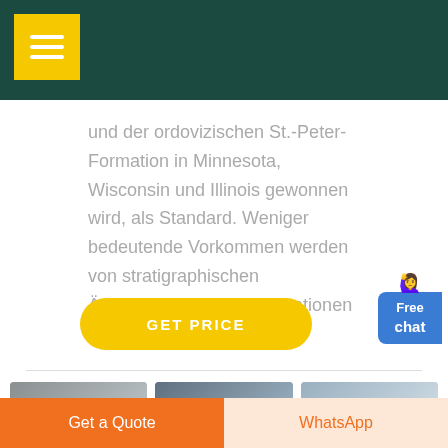und der ordovizischen St.-Peter-Formation in Minnesota, Wisconsin und Illinois gewonnen wird, als Standard. Weniger bedeutende Vorkommen werden von stratigraphischen Äquivalenten dieser Formationen in .
[Figure (illustration): Free chat widget with a customer service representative icon and blue button labeled 'Free chat']
[Figure (illustration): Yellow rounded button labeled 'GET PRICE']
[Figure (photo): Three thumbnail photos of industrial/construction equipment]
Get a Quote   WhatsApp